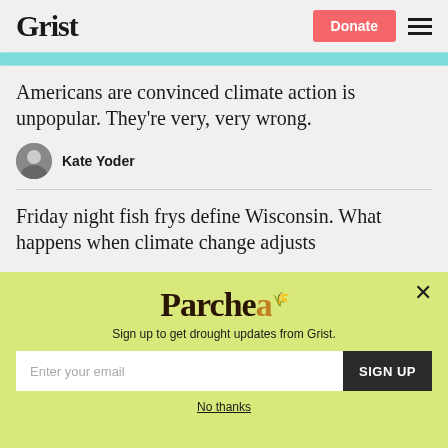Grist | Donate | Menu
Americans are convinced climate action is unpopular. They're very, very wrong.
Kate Yoder
Friday night fish frys define Wisconsin. What happens when climate change adjusts
[Figure (illustration): Parched newsletter modal popup with yellow-green background, featuring the 'Parched' logo in large serif font, a subtitle 'Sign up to get drought updates from Grist.', an email input field, a SIGN UP button, and a 'No thanks' link.]